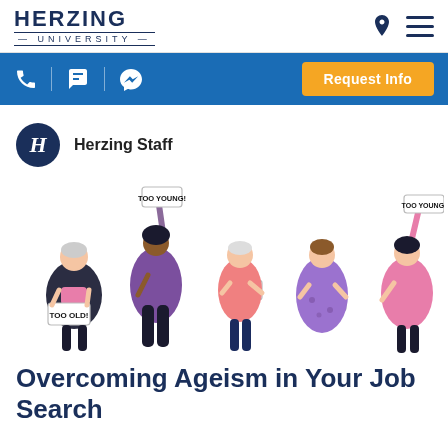HERZING UNIVERSITY
Request Info
Herzing Staff
[Figure (illustration): Five illustrated cartoon figures of various ages holding signs that read 'TOO OLD!' and 'TOO YOUNG!' representing ageism in the workplace. The figures are in pink and purple clothing.]
Overcoming Ageism in Your Job Search